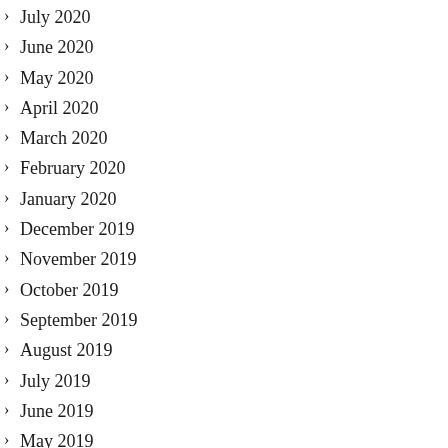July 2020
June 2020
May 2020
April 2020
March 2020
February 2020
January 2020
December 2019
November 2019
October 2019
September 2019
August 2019
July 2019
June 2019
May 2019
January 2019
December 2018